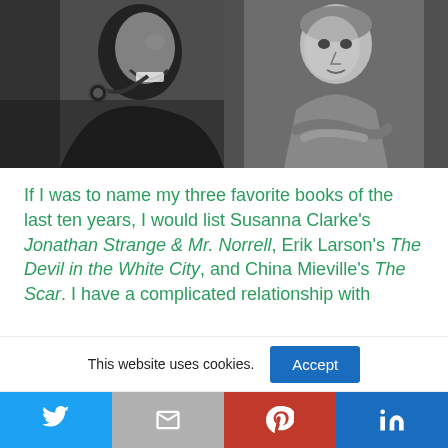[Figure (photo): Two black-and-white photos side by side: left shows an older man laughing and smoking a pipe; right shows a person with arms crossed wearing a sweater.]
If I was to name my three favorite books of the last ten years, I would list Susanna Clarke's Jonathan Strange & Mr. Norrell, Erik Larson's The Devil in the White City, and China Mieville's The Scar. I have a complicated relationship with
This website uses cookies.
[Figure (infographic): Social share bar with Twitter, Gmail, Pinterest, and LinkedIn buttons]